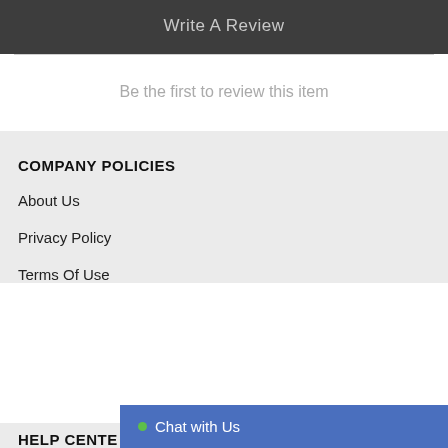Write A Review
Be the first to review this item
COMPANY POLICIES
About Us
Privacy Policy
Terms Of Use
HELP CENTER
Chat with Us